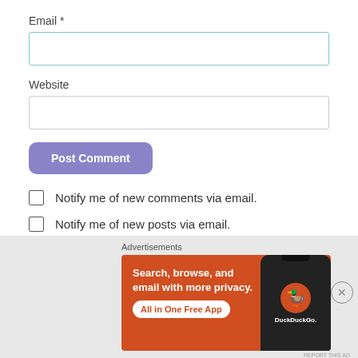Email *
Website
Post Comment
Notify me of new comments via email.
Notify me of new posts via email.
[Figure (screenshot): DuckDuckGo advertisement banner with orange background showing a smartphone. Text reads: Search, browse, and email with more privacy. All in One Free App. DuckDuckGo logo visible on phone screen.]